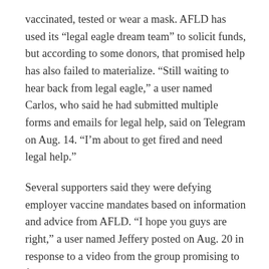vaccinated, tested or wear a mask. AFLD has used its “legal eagle dream team” to solicit funds, but according to some donors, that promised help has also failed to materialize. “Still waiting to hear back from legal eagle,” a user named Carlos, who said he had submitted multiple forms and emails for legal help, said on Telegram on Aug. 14. “I’m about to get fired and need legal help.”
Several supporters said they were defying employer vaccine mandates based on information and advice from AFLD. “I hope you guys are right,” a user named Jeffery posted on Aug. 20 in response to a video from the group promising to fight vaccine mandates in court. “I’m about to lose my career of over 20 years, my pension and my